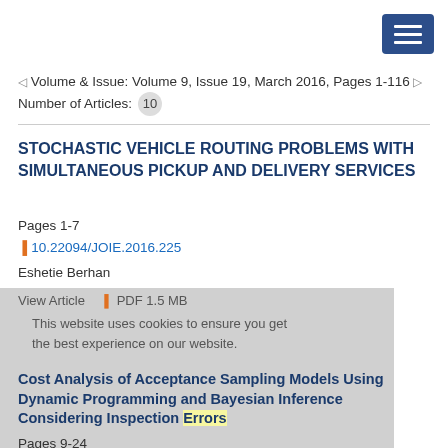Volume & Issue: Volume 9, Issue 19, March 2016, Pages 1-116 | Number of Articles: 10
STOCHASTIC VEHICLE ROUTING PROBLEMS WITH SIMULTANEOUS PICKUP AND DELIVERY SERVICES
Pages 1-7
10.22094/JOIE.2016.225
Eshetie Berhan
View Article  PDF 1.5 MB
This website uses cookies to ensure you get the best experience on our website.
Cost Analysis of Acceptance Sampling Models Using Dynamic Programming and Bayesian Inference Considering Inspection Errors
Pages 9-24